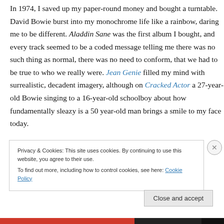In 1974, I saved up my paper-round money and bought a turntable. David Bowie burst into my monochrome life like a rainbow, daring me to be different. Aladdin Sane was the first album I bought, and every track seemed to be a coded message telling me there was no such thing as normal, there was no need to conform, that we had to be true to who we really were. Jean Genie filled my mind with surrealistic, decadent imagery, although on Cracked Actor a 27-year-old Bowie singing to a 16-year-old schoolboy about how fundamentally sleazy is a 50 year-old man brings a smile to my face today.
Privacy & Cookies: This site uses cookies. By continuing to use this website, you agree to their use.
To find out more, including how to control cookies, see here: Cookie Policy